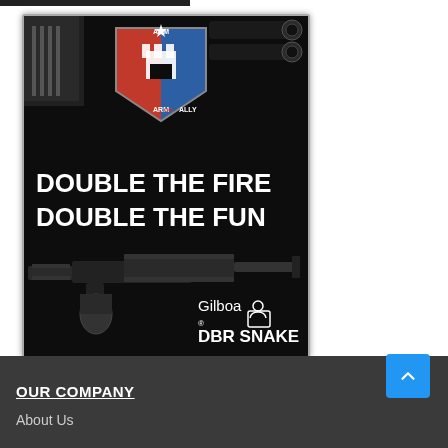[Figure (advertisement): Arm or Ally advertisement for Gilboa DBR Snake double-barrel rifle. Black background with shield logo at top, rifles shown, text 'DOUBLE THE FIRE DOUBLE THE FUN', brand name 'Gilboa DBR SNAKE' at bottom right.]
OUR COMPANY
About Us